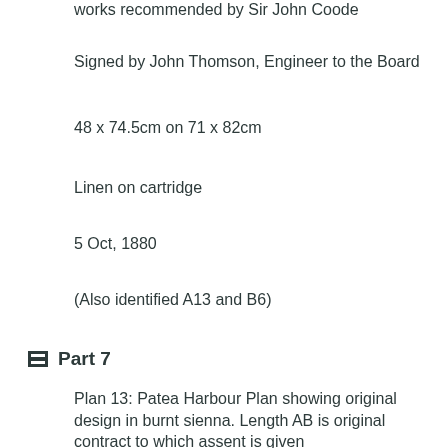works recommended by Sir John Coode
Signed by John Thomson, Engineer to the Board
48 x 74.5cm on 71 x 82cm
Linen on cartridge
5 Oct, 1880
(Also identified A13 and B6)
Part 7
Plan 13: Patea Harbour Plan showing original design in burnt sienna. Length AB is original contract to which assent is given
Wish to construct line CD signed John Thomson
63 x 74cm on 71 x 86cm